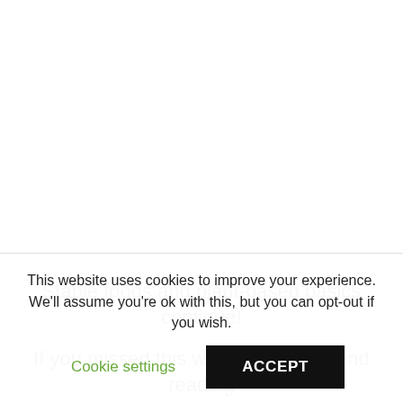Staple foods and plant-based basics continue!
If you missed this weekend’s weekend reading
This website uses cookies to improve your experience. We’ll assume you’re ok with this, but you can opt-out if you wish.
Cookie settings
ACCEPT